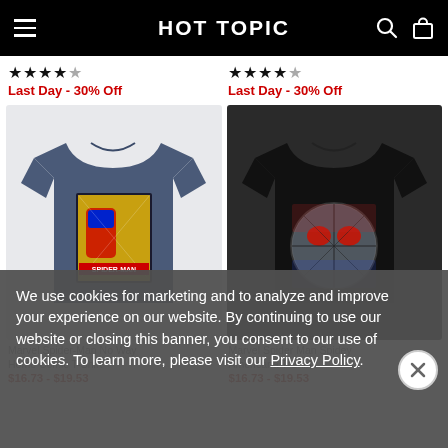HOT TOPIC
Last Day - 30% Off
Last Day - 30% Off
[Figure (photo): Blue Marvel Spider-Man No Way Home Comic T-Shirt on light gray background]
[Figure (photo): Black Marvel Spider-Man Spidey Americana T-Shirt with spider web circular logo on dark background]
We use cookies for marketing and to analyze and improve your experience on our website. By continuing to use our website or closing this banner, you consent to our use of cookies. To learn more, please visit our Privacy Policy.
Marvel Spider-Man No Way Home Comic T-Shirt
$16.73 - $19.53
Marvel Spider Man Spidey Americana T-Shirt
$16.73 - $19.53